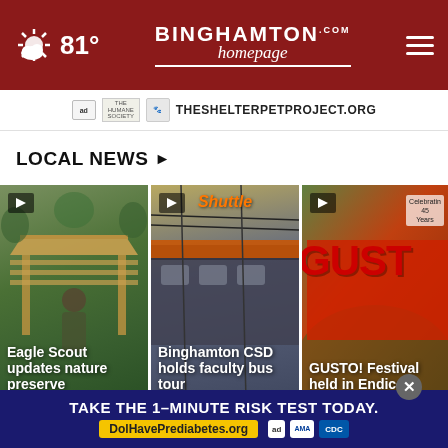81° Binghamton Homepage
[Figure (screenshot): Ad banner: THESHELTERPETPROJECT.ORG with logos]
LOCAL NEWS ▶
[Figure (photo): Eagle Scout updates nature preserve - video thumbnail with play button]
[Figure (photo): Binghamton CSD holds faculty bus tour - video thumbnail with play button, Shuttle bus sign visible]
[Figure (photo): GUSTO! Festival held in Endicot - video thumbnail with play button, GUSTO sign and Celebrating 45 Years text]
[Figure (screenshot): Bottom ad: TAKE THE 1-MINUTE RISK TEST TODAY. DolHavePrediabetes.org with ad, AMA, CDC logos]